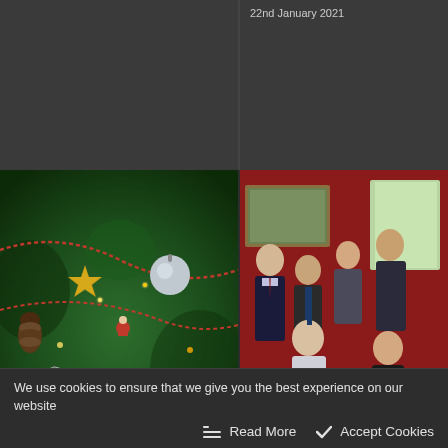22nd January 2021
[Figure (photo): Close-up photo of a decorated Christmas tree with ornaments including a gold star, silver baubles, pinecones, fairy lights, and red beaded garland]
[Figure (photo): Group staff photo in an office with red walls. Several people in formal business attire, with one person seated in an armchair and others standing behind.]
Staff Christmas
Century o
We use cookies to ensure that we give you the best experience on our website
Read More
Accept Cookies